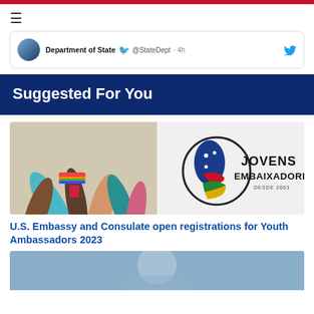[Figure (screenshot): Twitter/social card snippet showing Department of State account: avatar, name 'Department of State', Twitter bird icon, '@StateDept', '4h', and Twitter bird icon on right]
Suggested For You
[Figure (illustration): Jovens Embaixadores promotional image showing diverse hands stacked together with colorful bracelets and a logo reading 'JOVENS EMBAIXADORES DESDE 2003' with a stylized map of South America in blue, red, green, yellow colors]
U.S. Embassy and Consulate open registrations for Youth Ambassadors 2023
[Figure (photo): Partial photo of a person, blurred blue background, bottom of the page]